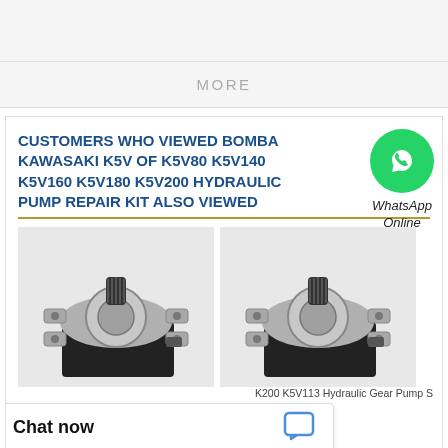MORE
CUSTOMERS WHO VIEWED BOMBA KAWASAKI K5V OF K5V80 K5V140 K5V160 K5V180 K5V200 HYDRAULIC PUMP REPAIR KIT ALSO VIEWED
[Figure (photo): WhatsApp Online badge — green circle with phone icon, text 'WhatsApp Online' below]
[Figure (photo): Hydraulic gear pump product photo — grey metal pump viewed from top, black body]
[Figure (photo): Hydraulic gear pump product photo — second unit, similar grey/black hydraulic pump, partially cropped, with caption text 'K200 K5V1 1 3 Hydraulic Gear Pump S']
K200 K5V113 Hydraulic Gear Pump S
Chat now